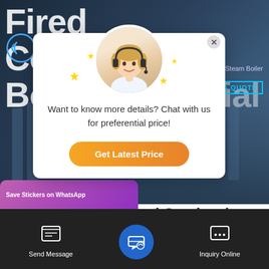[Figure (screenshot): Hero background showing industrial boiler facility with large text overlay reading 'Fired Condensing Boiler Industrial' and ROCBO logo]
[Figure (screenshot): Chat popup overlay with customer service agent avatar, stars decoration, close button, message 'Want to know more details? Chat with us for preferential price!' and orange 'Get Latest Price' button]
6t Natural Gas Fired Condensing Boiler Industrial Moldavia
[Figure (screenshot): Bottom navigation bar with Send Message icon, center email/message icon, Inquiry Online icon, and WhatsApp sticker card overlay]